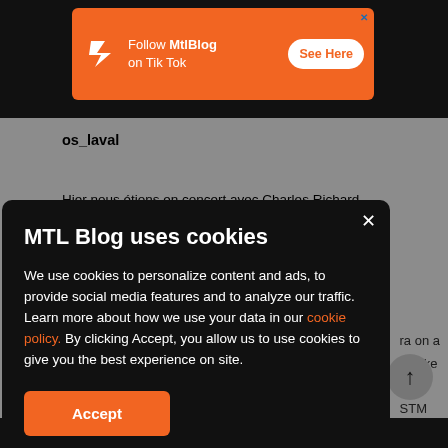[Figure (screenshot): Orange advertisement banner for MtlBlog TikTok with logo, text 'Follow MtlBlog on Tik Tok', and 'See Here' button]
os_laval
Hier nous étions en concert avec Charles Richard Hamelin 😊 #orchestra #piano #brahms
ra on a
r. Take
by
STM
MTL Blog uses cookies
We use cookies to personalize content and ads, to provide social media features and to analyze our traffic. Learn more about how we use your data in our cookie policy. By clicking Accept, you allow us to use cookies to give you the best experience on site.
Accept